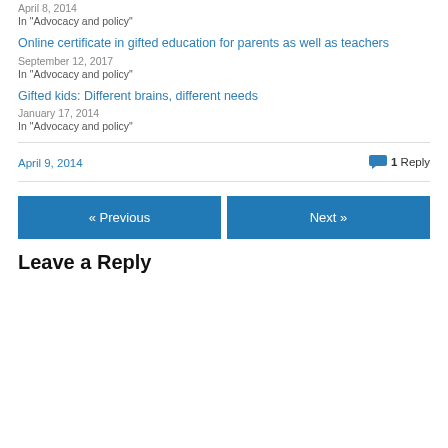April 8, 2014
In "Advocacy and policy"
Online certificate in gifted education for parents as well as teachers
September 12, 2017
In "Advocacy and policy"
Gifted kids: Different brains, different needs
January 17, 2014
In "Advocacy and policy"
April 9, 2014
1 Reply
« Previous
Next »
Leave a Reply